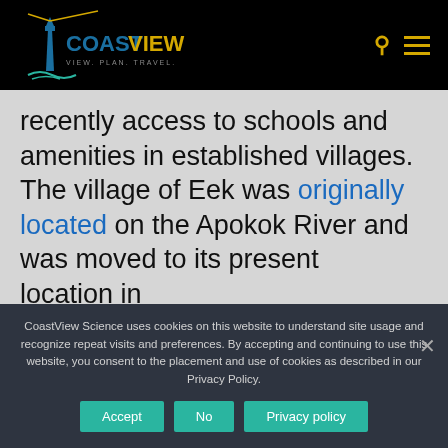CoastView — View. Plan. Travel. [logo header with search and menu icons]
recently access to schools and amenities in established villages. The village of Eek was originally located on the Apokok River and was moved to its present location in
CoastView Science uses cookies on this website to understand site usage and recognize repeat visits and preferences. By accepting and continuing to use this website, you consent to the placement and use of cookies as described in our Privacy Policy.